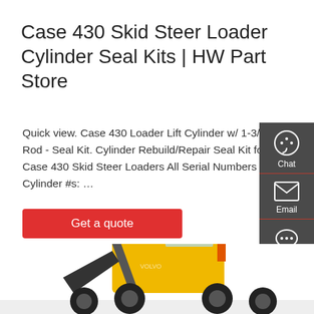Case 430 Skid Steer Loader Cylinder Seal Kits | HW Part Store
Quick view. Case 430 Loader Lift Cylinder w/ 1-3/4" Rod - Seal Kit. Cylinder Rebuild/Repair Seal Kit for Case 430 Skid Steer Loaders All Serial Numbers Cylinder #s: …
Get a quote
[Figure (screenshot): Side panel with Chat, Email, and Contact icons on dark grey background]
[Figure (photo): Yellow wheel loader / skid steer loader machine at the bottom of the page]